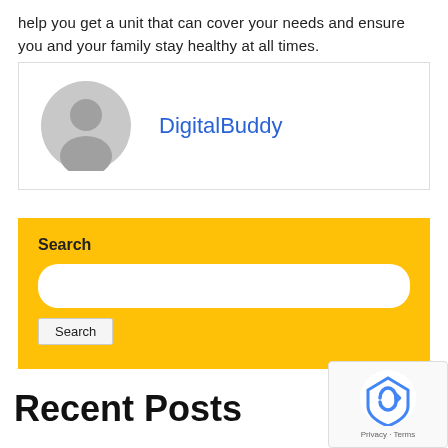help you get a unit that can cover your needs and ensure you and your family stay healthy at all times.
[Figure (illustration): Author profile card with a gray avatar icon on the left and the name 'DigitalBuddy' in blue on the right, inside a white box with a light border.]
DigitalBuddy
[Figure (screenshot): Yellow search widget box containing a 'Search' label, a white rounded search input field, and a Search button.]
Recent Posts